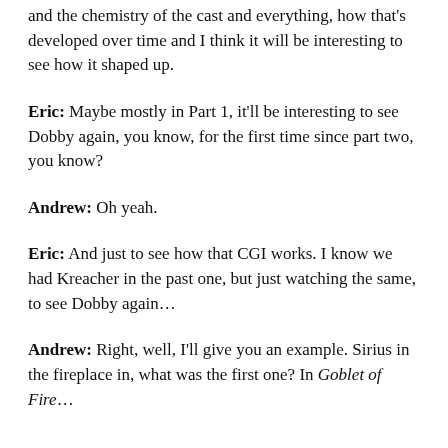and the chemistry of the cast and everything, how that's developed over time and I think it will be interesting to see how it shaped up.
Eric: Maybe mostly in Part 1, it'll be interesting to see Dobby again, you know, for the first time since part two, you know?
Andrew: Oh yeah.
Eric: And just to see how that CGI works. I know we had Kreacher in the past one, but just watching the same, to see Dobby again…
Andrew: Right, well, I'll give you an example. Sirius in the fireplace in, what was the first one? In Goblet of Fire…